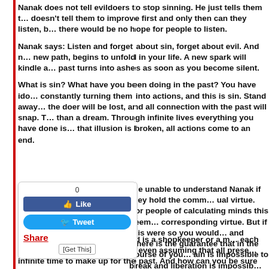Nanak does not tell evildoers to stop sinning. He just tells them t… doesn't tell them to improve first and only then can they listen, b… there would be no hope for people to listen.
Nanak says: Listen and forget about sin, forget about evil. And n… new path, begins to unfold in your life. A new spark will kindle a… past turns into ashes as soon as you become silent.
What is sin? What have you been doing in the past? You have ido… constantly turning them into actions, and this is sin. Stand away… the doer will be lost, and all connection with the past will snap. T… than a dream. Through infinite lives everything you have done is… that illusion is broken, all actions come to an end.
[Figure (other): Social sharing widget showing Like (0), Tweet, Share, and Get This buttons]
…e unable to understand Nanak if they hold the comm… ual virtue. For people of calculating minds this seem… corresponding virtue. But if this were so you would… and where is the guarantee that in the course of you… ain is impossible to break and liberation is impossib…
…read over infinite lives. If God is a shopkeeper or a m… each sin, when will it ever end? And even assuming that all prese… infinite time to make up for the past. And how can you be sure y… men follow a different method of calculation altogether, because… of the basis of sin, its very roots.